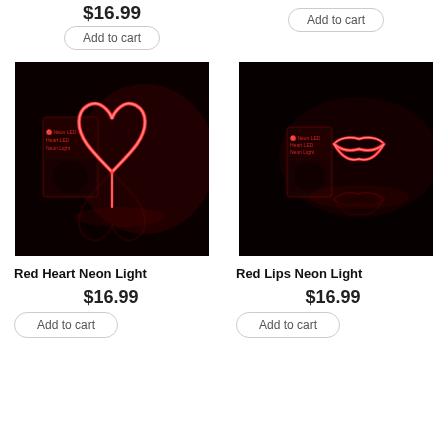$16.99
Add to cart
Add to cart
[Figure (photo): Red neon heart light glowing on dark background with product box]
[Figure (photo): Red neon lips light glowing on dark background with product box]
Red Heart Neon Light
Red Lips Neon Light
$16.99
$16.99
Add to cart
Add to cart